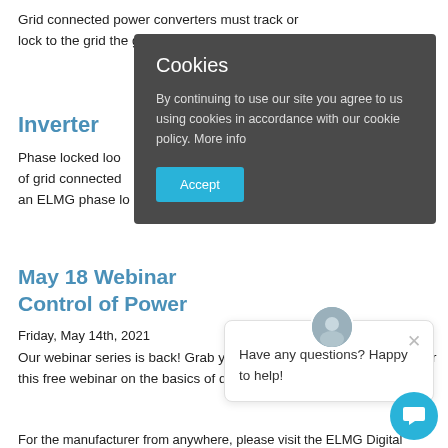Grid connected power converters must track or lock to the grid the grid.  The best method to do this is with a phase locked a frequency locke
Inverter
Phase locked loo of grid connected an ELMG phase lo
Cookies
By continuing to use our site you agree to us using cookies in accordance with our cookie policy. More info
Accept
May 18 Webinar Control of Power
Friday, May 14th, 2021
Our webinar series is back! Grab your lunch or a coffee and join us for this free webinar on the basics of digital control o electronics.
Have any questions? Happy to help!
For the manufacturer from anywhere, please visit the ELMG Digital